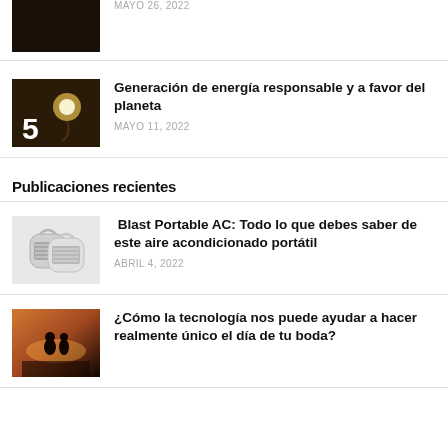[Figure (photo): Partial view of dark thumbnail image at top]
MAYO 26, 2022
[Figure (photo): Thumbnail with number 5 overlay, light bulb and plug scene]
Generación de energía responsable y a favor del planeta
MAYO 11, 2022
Publicaciones recientes
[Figure (photo): Two white portable AC units]
Blast Portable AC: Todo lo que debes saber de este aire acondicionado portátil
ABRIL 4, 2022
[Figure (photo): Couple silhouette at sunset by water]
¿Cómo la tecnología nos puede ayudar a hacer realmente único el día de tu boda?